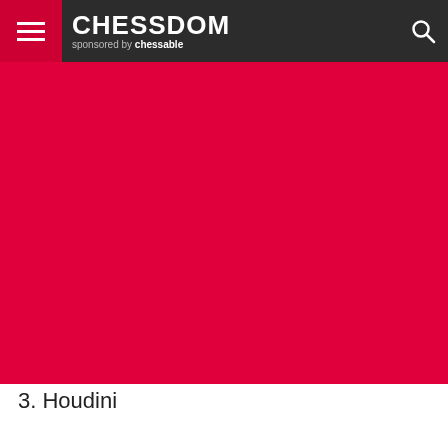[Figure (screenshot): Chessdom website header/navbar with red hamburger menu button on left, CHESSDOM logo in white bold text, 'sponsored by chessable' subtitle, and search icon on right, all on dark gray background]
[Figure (photo): Large red/crimson banner image area below the navbar, likely a photo or graphic with a solid red-crimson color fill]
3. Houdini